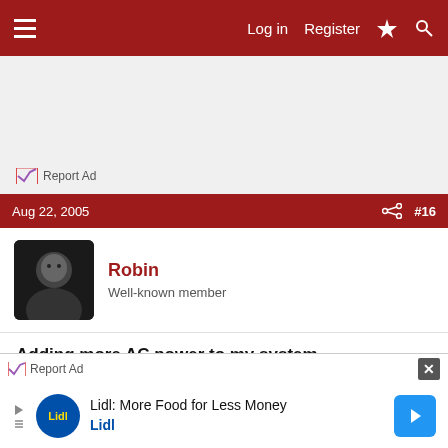Log in   Register
[Figure (screenshot): Ad banner area with Report Ad link]
Report Ad
Aug 22, 2005   #16
Robin
Well-known member
Adding more AC power to my system...
68sting,

I forgot to mention, a very important and timely system improvement, I've been working on the last few days. I
Report Ad
Lidl: More Food for Less Money
Lidl